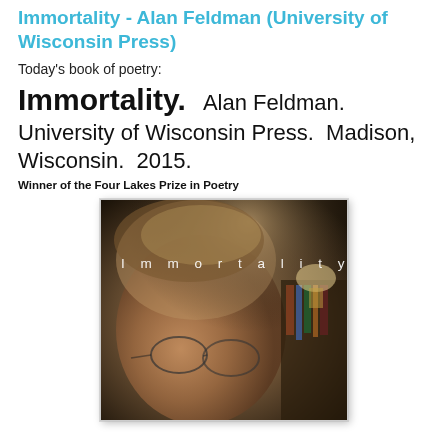Immortality - Alan Feldman (University of Wisconsin Press)
Today's book of poetry:
Immortality.  Alan Feldman.  University of Wisconsin Press.  Madison, Wisconsin.  2015.
Winner of the Four Lakes Prize in Poetry
[Figure (photo): Book cover of 'Immortality' by Alan Feldman, showing a close-up black and white photo of an older bearded man with glasses, with the title 'Immortality' in white spaced letters across the top portion of the image.]